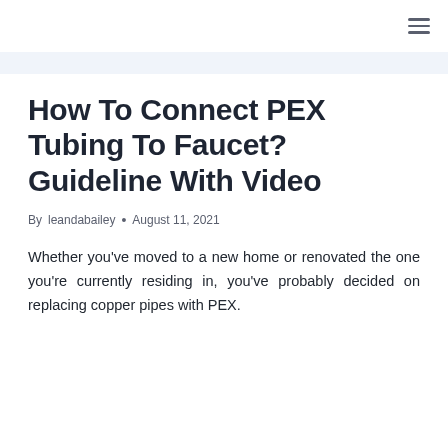≡
How To Connect PEX Tubing To Faucet? Guideline With Video
By leandabailey • August 11, 2021
Whether you've moved to a new home or renovated the one you're currently residing in, you've probably decided on replacing copper pipes with PEX.